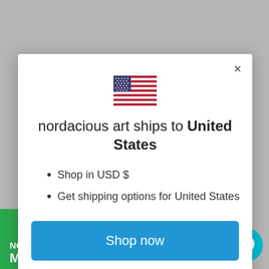[Figure (screenshot): Background of a website page with gray overlay, partially visible product image at bottom showing a green background with bold white text 'NOW YOU LISTEN HERE YOU MUL...']
[Figure (illustration): US flag emoji/icon shown in modal dialog]
nordacious art ships to United States
Shop in USD $
Get shipping options for United States
Shop now
Change shipping country